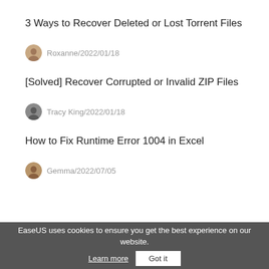3 Ways to Recover Deleted or Lost Torrent Files
Roxanne/2022/01/18
[Solved] Recover Corrupted or Invalid ZIP Files
Tracy King/2022/01/18
How to Fix Runtime Error 1004 in Excel
Gemma/2022/07/05
EaseUS uses cookies to ensure you get the best experience on our website.   Learn more   Got it